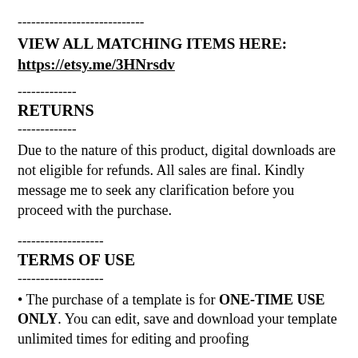----------------------------
VIEW ALL MATCHING ITEMS HERE:
https://etsy.me/3HNrsdv
-------------
RETURNS
-------------
Due to the nature of this product, digital downloads are not eligible for refunds. All sales are final. Kindly message me to seek any clarification before you proceed with the purchase.
-------------------
TERMS OF USE
-------------------
• The purchase of a template is for ONE-TIME USE ONLY. You can edit, save and download your template unlimited times for editing and proofing